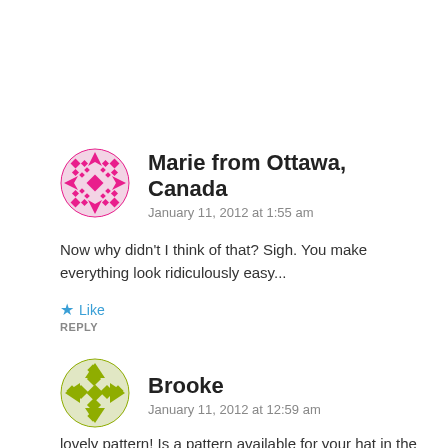[Figure (illustration): Pink geometric/floral circular avatar for Marie from Ottawa, Canada]
Marie from Ottawa, Canada
January 11, 2012 at 1:55 am
Now why didn't I think of that? Sigh. You make everything look ridiculously easy...
★ Like
REPLY
[Figure (illustration): Olive/yellow-green geometric circular avatar for Brooke]
Brooke
January 11, 2012 at 12:59 am
lovely pattern!  Is a pattern available for your hat in the